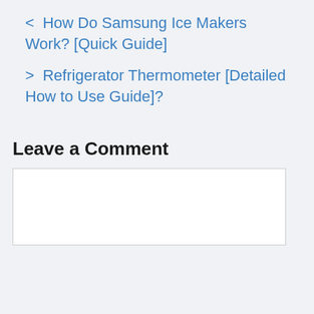< How Do Samsung Ice Makers Work? [Quick Guide]
> Refrigerator Thermometer [Detailed How to Use Guide]?
Leave a Comment
[Figure (other): Empty comment text area input box]